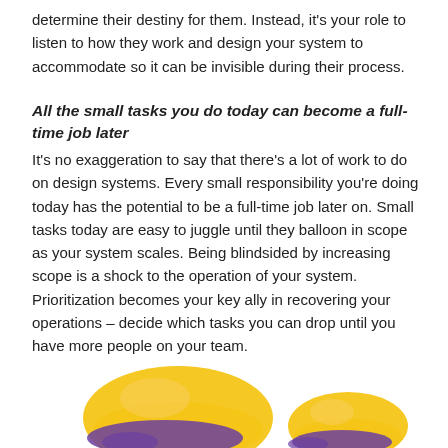determine their destiny for them. Instead, it's your role to listen to how they work and design your system to accommodate so it can be invisible during their process.
All the small tasks you do today can become a full-time job later
It's no exaggeration to say that there's a lot of work to do on design systems. Every small responsibility you're doing today has the potential to be a full-time job later on. Small tasks today are easy to juggle until they balloon in scope as your system scales. Being blindsided by increasing scope is a shock to the operation of your system. Prioritization becomes your key ally in recovering your operations – decide which tasks you can drop until you have more people on your team.
[Figure (illustration): Two partially visible cartoon-style illustrations showing yellow and purple objects (possibly hats or characters) at the bottom of the page.]